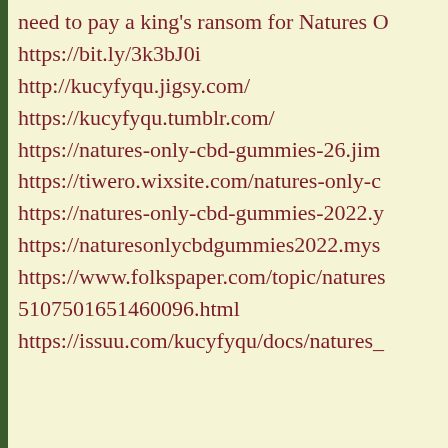need to pay a king's ransom for Natures O
https://bit.ly/3k3bJ0i
http://kucyfyqu.jigsy.com/
https://kucyfyqu.tumblr.com/
https://natures-only-cbd-gummies-26.jim
https://tiwero.wixsite.com/natures-only-c
https://natures-only-cbd-gummies-2022.y
https://naturesonlycbdgummies2022.mys
https://www.folkspaper.com/topic/natures 5107501651460096.html
https://issuu.com/kucyfyqu/docs/natures_